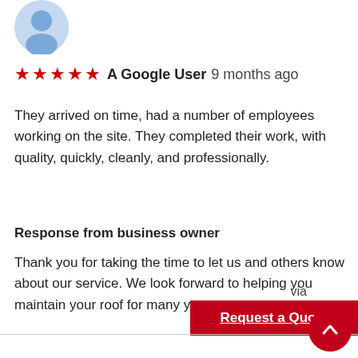[Figure (illustration): Blue avatar/profile icon placeholder]
★★★★★ A Google User 9 months ago
They arrived on time, had a number of employees working on the site. They completed their work, with quality, quickly, cleanly, and professionally.
Response from business owner
Thank you for taking the time to let us and others know about our service. We look forward to helping you maintain your roof for many years to come.
via
Request a Quote